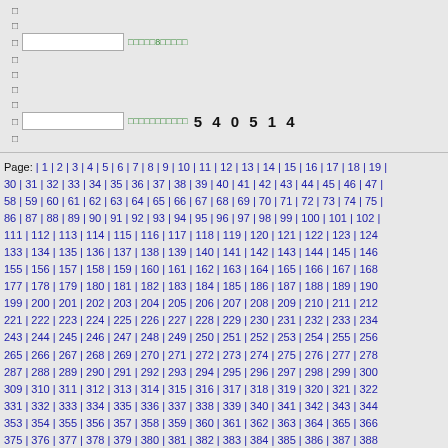[Figure (screenshot): Web form interface with input boxes and green label text. First row has an input box with green text label containing '8'. Second row has an input box with green text label and bold number '5 4 0 5 1 4'.]
Page: | 1 | 2 | 3 | 4 | 5 | 6 | 7 | 8 | 9 | 10 | 11 | 12 | 13 | 14 | 15 | 16 | 17 | 18 | 19 | 30 | 31 | 32 | 33 | 34 | 35 | 36 | 37 | 38 | 39 | 40 | 41 | 42 | 43 | 44 | 45 | 46 | 47 | 58 | 59 | 60 | 61 | 62 | 63 | 64 | 65 | 66 | 67 | 68 | 69 | 70 | 71 | 72 | 73 | 74 | 75 | 86 | 87 | 88 | 89 | 90 | 91 | 92 | 93 | 94 | 95 | 96 | 97 | 98 | 99 | 100 | 101 | 102 | 111 | 112 | 113 | 114 | 115 | 116 | 117 | 118 | 119 | 120 | 121 | 122 | 123 | 124 | 133 | 134 | 135 | 136 | 137 | 138 | 139 | 140 | 141 | 142 | 143 | 144 | 145 | 146 | 155 | 156 | 157 | 158 | 159 | 160 | 161 | 162 | 163 | 164 | 165 | 166 | 167 | 168 | 177 | 178 | 179 | 180 | 181 | 182 | 183 | 184 | 185 | 186 | 187 | 188 | 189 | 190 | 199 | 200 | 201 | 202 | 203 | 204 | 205 | 206 | 207 | 208 | 209 | 210 | 211 | 212 | 221 | 222 | 223 | 224 | 225 | 226 | 227 | 228 | 229 | 230 | 231 | 232 | 233 | 234 | 243 | 244 | 245 | 246 | 247 | 248 | 249 | 250 | 251 | 252 | 253 | 254 | 255 | 256 | 265 | 266 | 267 | 268 | 269 | 270 | 271 | 272 | 273 | 274 | 275 | 276 | 277 | 278 | 287 | 288 | 289 | 290 | 291 | 292 | 293 | 294 | 295 | 296 | 297 | 298 | 299 | 300 | 309 | 310 | 311 | 312 | 313 | 314 | 315 | 316 | 317 | 318 | 319 | 320 | 321 | 322 | 331 | 332 | 333 | 334 | 335 | 336 | 337 | 338 | 339 | 340 | 341 | 342 | 343 | 344 | 353 | 354 | 355 | 356 | 357 | 358 | 359 | 360 | 361 | 362 | 363 | 364 | 365 | 366 | 375 | 376 | 377 | 378 | 379 | 380 | 381 | 382 | 383 | 384 | 385 | 386 | 387 | 388 | 397 | 398 | 399 | 400 | 401 | 402 | 403 | 404 | 405 | 406 | 407 | 408 | 409 | 410 | 419 | 420 | 421 | 422 | 423 | 424 | 425 | 426 | 427 | 428 | 429 | 430 | 431 | 432